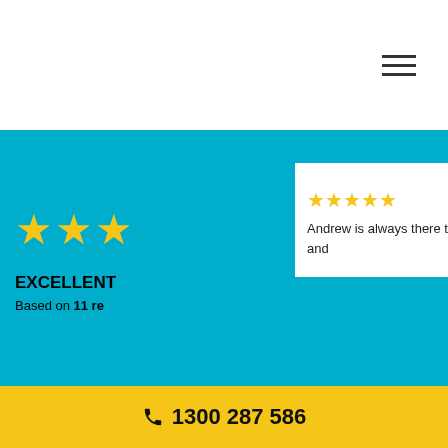[Figure (screenshot): Hamburger menu icon (three horizontal lines) in top navigation bar]
[Figure (screenshot): Cyan review section with large yellow stars, EXCELLENT label, 'Based on 11 reviews', and three white review cards showing 5-star ratings and text snippets: 'Andrew is always there to help and', 'Andrew at Plumbers 2 You is', 'Fantastic service, Andrew was'. Carousel indicator dot below cards.]
EXCELLENT
Based on 11 reviews
Andrew is always there to help and
Andrew at Plumbers 2 You is
Fantastic service, Andrew was
Don’t Pay Full Price
Speak To Our Local
1300 287 586